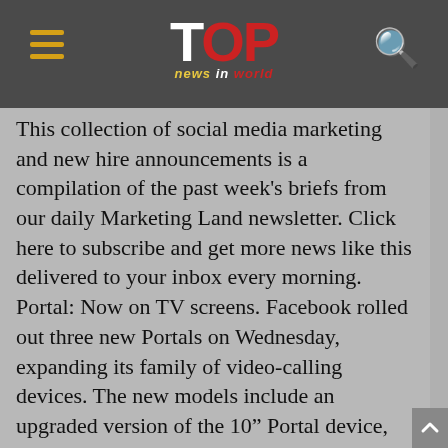TOP news in world
This collection of social media marketing and new hire announcements is a compilation of the past week's briefs from our daily Marketing Land newsletter. Click here to subscribe and get more news like this delivered to your inbox every morning. Portal: Now on TV screens. Facebook rolled out three new Portals on Wednesday, expanding its family of video-calling devices. The new models include an upgraded version of the 10" Portal device, an all-new 8" Portal Mini and a Portal TV device that can be placed below or on top of a user's TV, offering in-screen video-calling from the TV screen. The three devices range from $129 for the mini to $179 for the upgraded 10" Portal. The Portal TV costs $149.All three include the same video-calling capabilities